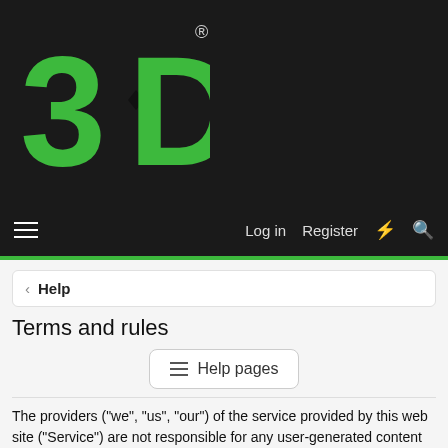[Figure (logo): 3D logo in green on dark background with registered trademark symbol]
Log in  Register
< Help
Terms and rules
≡ Help pages
The providers ("we", "us", "our") of the service provided by this web site ("Service") are not responsible for any user-generated content and accounts. Content submitted express the views of their author only.
This Service is only available to users who are at least 13 years old. If you are younger than this, please do not register for this Service. If you register for this Service, you represent that you are this age or